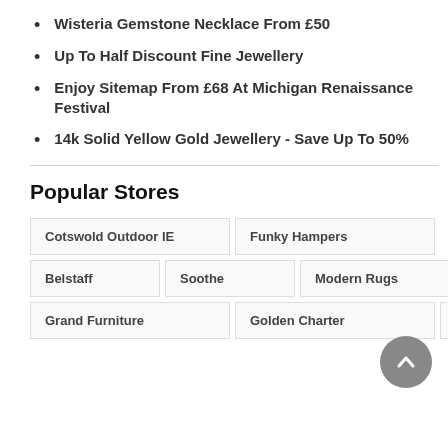Wisteria Gemstone Necklace From £50
Up To Half Discount Fine Jewellery
Enjoy Sitemap From £68 At Michigan Renaissance Festival
14k Solid Yellow Gold Jewellery - Save Up To 50%
Popular Stores
Cotswold Outdoor IE    Funky Hampers
Belstaff    Soothe    Modern Rugs
Grand Furniture    Golden Charter    Inesoft